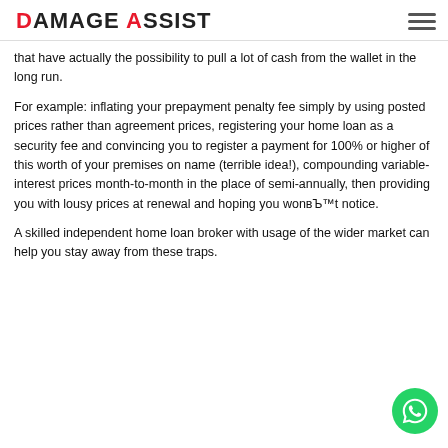DAMAGE ASSIST
that have actually the possibility to pull a lot of cash from the wallet in the long run.
For example: inflating your prepayment penalty fee simply by using posted prices rather than agreement prices, registering your home loan as a security fee and convincing you to register a payment for 100% or higher of this worth of your premises on name (terrible idea!), compounding variable-interest prices month-to-month in the place of semi-annually, then providing you with lousy prices at renewal and hoping you wonвЂ™t notice.
A skilled independent home loan broker with usage of the wider market can help you stay away from these traps.